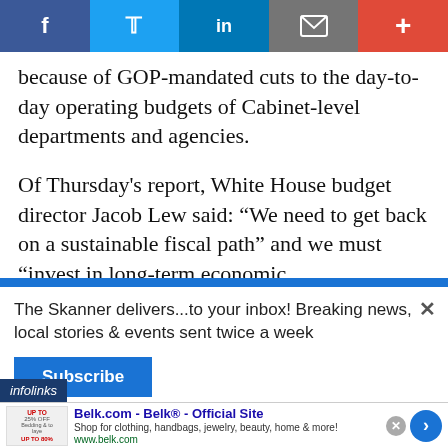[Figure (other): Social media sharing bar with Facebook, Twitter, LinkedIn, email/share, and plus buttons]
because of GOP-mandated cuts to the day-to-day operating budgets of Cabinet-level departments and agencies.
Of Thursday's report, White House budget director Jacob Lew said: “We need to get back on a sustainable fiscal path” and we must “invest in long-term economic
[Figure (screenshot): Newsletter subscription popup: 'The Skanner delivers...to your inbox! Breaking news, local stories & events sent twice a week' with a Subscribe button and X close button, plus infolinks branding bar]
[Figure (screenshot): Belk.com advertisement: 'Belk.com - Belk® - Official Site, Shop for clothing, handbags, jewelry, beauty, home & more! www.belk.com' with navigation arrow and close button]
[Figure (screenshot): Constant Staffing advertisement in Spanish: 'ESTAMOS CONTRATANDO BILINGUES' with job listings and phone number 713-714-8909]